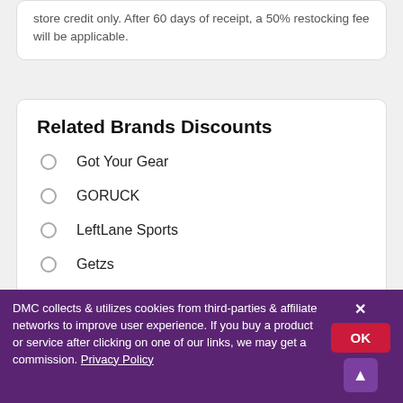store credit only. After 60 days of receipt, a 50% restocking fee will be applicable.
Related Brands Discounts
Got Your Gear
GORUCK
LeftLane Sports
Getzs
The House
DMC collects & utilizes cookies from third-parties & affiliate networks to improve user experience. If you buy a product or service after clicking on one of our links, we may get a commission. Privacy Policy